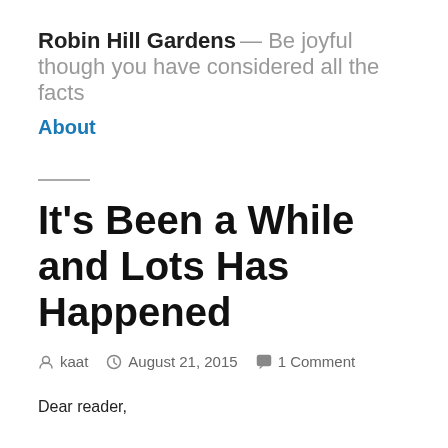Robin Hill Gardens — Be joyful though you have considered all the facts
About
It's Been a While and Lots Has Happened
kaat   August 21, 2015   1 Comment
Dear reader,